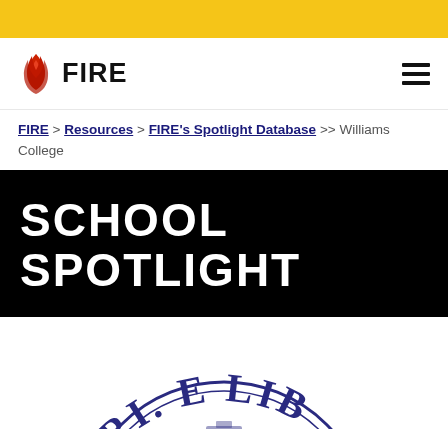[Figure (logo): FIRE logo with flame icon and bold FIRE text, plus hamburger menu icon]
FIRE > Resources > FIRE's Spotlight Database >> Williams College
SCHOOL SPOTLIGHT
[Figure (logo): Williams College seal (partial): text reading GERI. E LIB with decorative circular seal]